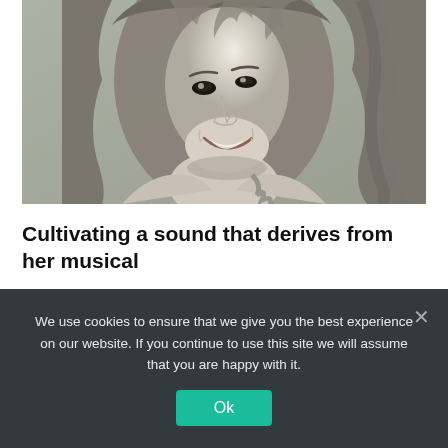[Figure (photo): Black and white photograph of a smiling woman with long wavy hair, looking over her shoulder, against a neutral grey background.]
Cultivating a sound that derives from her musical
We use cookies to ensure that we give you the best experience on our website. If you continue to use this site we will assume that you are happy with it.